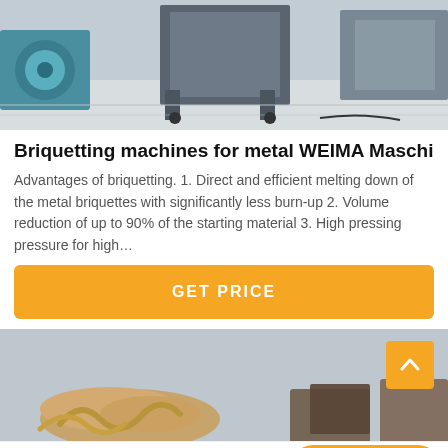[Figure (photo): Photo of industrial metal briquetting machine on a factory floor, showing grey steel frame structure and machinery components]
Briquetting machines for metal WEIMA Maschinenbau
Advantages of briquetting. 1. Direct and efficient melting down of the metal briquettes with significantly less burn-up 2. Volume reduction of up to 90% of the starting material 3. High pressing pressure for high…
GET PRICE
[Figure (photo): Photo showing metal briquettes or shavings, partially visible at the bottom of the page]
Leave Message
Chat Online